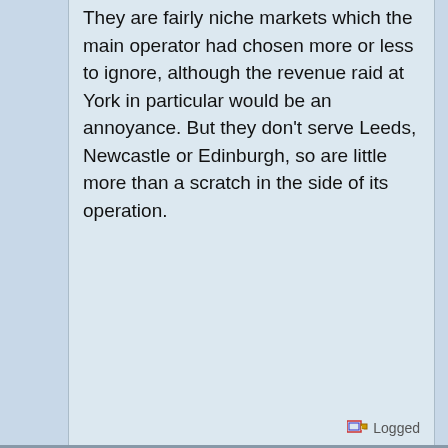They are fairly niche markets which the main operator had chosen more or less to ignore, although the revenue raid at York in particular would be an annoyance. But they don't serve Leeds, Newcastle or Edinburgh, so are little more than a scratch in the side of its operation.
Logged
TonyK
Global Moderator
Hero Member
Posts: 6094
The artist
Re: Open Access Application - London to Cardiff (28/03/2019)
« Reply #73 on: July 09, 2020, 03:53:50 pm »
Quote from: Celestial on July 08, 2020, 11:48:48 am
I don't buy the argument that Hull Trains and Grand Central have resulted in the main East Coast operator raising its game. They are fairly niche markets which the main operator had chosen more or less to ignore, although the revenue raid at York in particular would be an annoyance. But they don't serve Leeds, Newcastle or Edinburgh, so are little